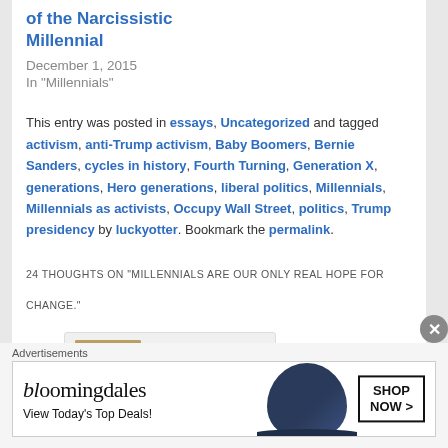of the Narcissistic Millennial
December 1, 2015
In "Millennials"
This entry was posted in essays, Uncategorized and tagged activism, anti-Trump activism, Baby Boomers, Bernie Sanders, cycles in history, Fourth Turning, Generation X, generations, Hero generations, liberal politics, Millennials, Millennials as activists, Occupy Wall Street, politics, Trump presidency by luckyotter. Bookmark the permalink.
24 THOUGHTS ON "MILLENNIALS ARE OUR ONLY REAL HOPE FOR CHANGE."
[Figure (photo): Comment section with a user avatar photo showing a person with glasses and blonde hair wearing a hat]
Advertisements
[Figure (infographic): Bloomingdales advertisement banner: bloomingdales View Today's Top Deals! SHOP NOW >]